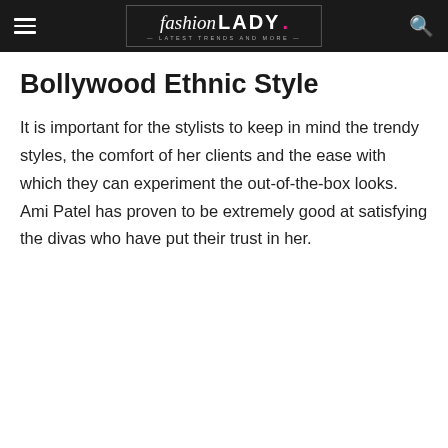fashion LADY — Latest Trends and More —
Bollywood Ethnic Style
It is important for the stylists to keep in mind the trendy styles, the comfort of her clients and the ease with which they can experiment the out-of-the-box looks. Ami Patel has proven to be extremely good at satisfying the divas who have put their trust in her.